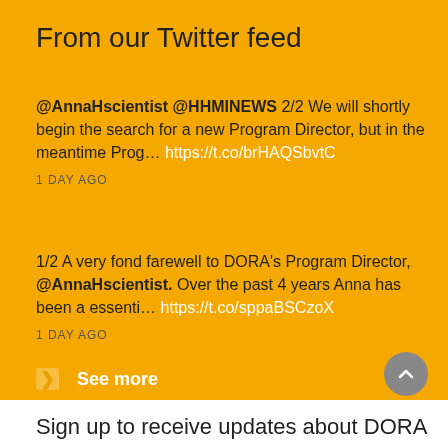From our Twitter feed
@AnnaHscientist @HHMINEWS 2/2 We will shortly begin the search for a new Program Director, but in the meantime Prog… https://t.co/brHAQSbvtC
1 DAY AGO
1/2 A very fond farewell to DORA's Program Director, @AnnaHscientist. Over the past 4 years Anna has been a essenti… https://t.co/sppaBSCzoX
1 DAY AGO
See more
Sign up to receive updates about DORA